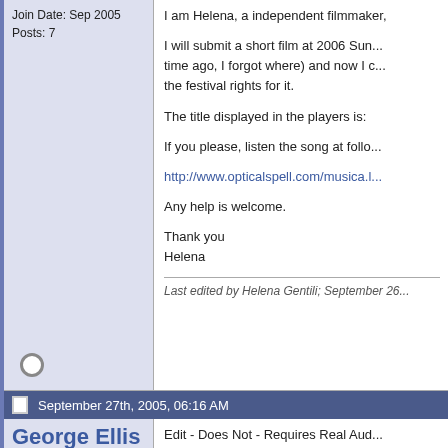Join Date: Sep 2005
Posts: 7
I am Helena, a independent filmmaker.

I will submit a short film at 2006 Sundance (I read the rules a long time ago, I forgot where) and now I don't know if I can keep the festival rights for it.

The title displayed in the players is:

If you please, listen the song at follo...

http://www.opticalspell.com/musica...

Any help is welcome.

Thank you
Helena
Last edited by Helena Gentili; September 26...
September 27th, 2005, 06:16 AM
George Ellis
Trustee

Join Date: Feb 2004
Location: Suwanee, GA
Posts: 1,241
Edit - Does Not - Requires Real Audio...

The structure calls real audio, but as...

I have never heard it before.